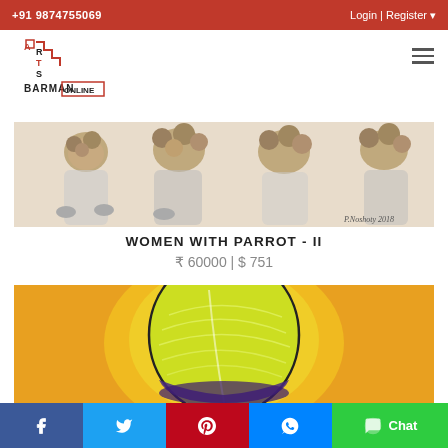+91 9874755069   Login | Register
[Figure (logo): Arts Barman Online logo with staircase design in red and black]
[Figure (photo): Painting showing women figures with round hairstyles/heads in grey tones, cropped view of the artwork 'Women With Parrot - II']
WOMEN WITH PARROT - II
₹ 60000 | $ 751
[Figure (photo): Colorful painting with orange background showing a figure with a yellow and green turban/head covering with purple details]
Facebook | Twitter | Pinterest | Messenger | Chat